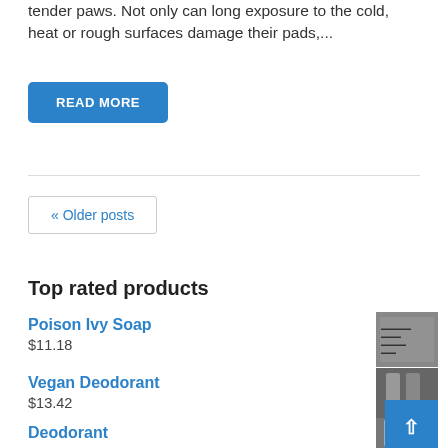tender paws. Not only can long exposure to the cold, heat or rough surfaces damage their pads,...
READ MORE
« Older posts
Top rated products
Poison Ivy Soap
$11.18
Vegan Deodorant
$13.42
Deodorant